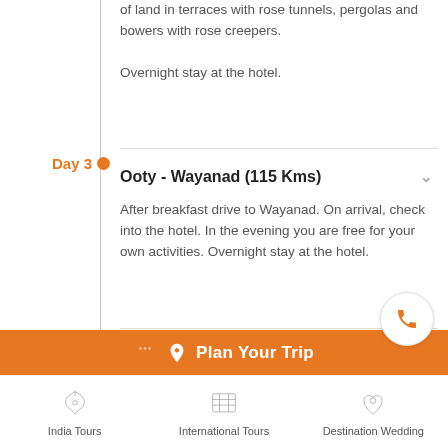of land in terraces with rose tunnels, pergolas and bowers with rose creepers.

Overnight stay at the hotel.
Day 3
Ooty - Wayanad (115 Kms)
After breakfast drive to Wayanad. On arrival, check into the hotel. In the evening you are free for your own activities. Overnight stay at the hotel.
Day 4
Wayanad
After breakfast proceed to Wayanad Wildlife Sanctuary. Later, visit the Rook…
Plan Your Trip
India Tours
International Tours
Destination Wedding